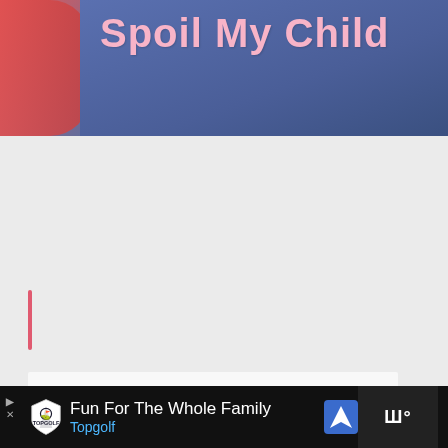[Figure (photo): Person wearing a blue shirt with pink text reading 'Spoil My Child', with a red shirt visible on the left]
[Figure (screenshot): Website UI showing a content area with a pink/red vertical bar on the left, a like button with heart icon showing count of 2, a share button, and a 'WHAT'S NEXT' card showing 'Why I Still Cuddle With...' with a thumbnail photo]
[Figure (screenshot): Advertisement banner at bottom: black background with Topgolf logo and text 'Fun For The Whole Family / Topgolf' with navigation icon and right-side logo]